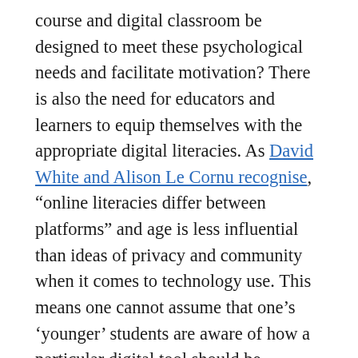course and digital classroom be designed to meet these psychological needs and facilitate motivation? There is also the need for educators and learners to equip themselves with the appropriate digital literacies. As David White and Alison Le Cornu recognise, “online literacies differ between platforms” and age is less influential than ideas of privacy and community when it comes to technology use. This means one cannot assume that one’s ‘younger’ students are aware of how a particular digital tool should be employed for learning purposes. For example, most university students have experience using social media (e.g. Facebook, Twitter, Instagram), but if social media is incorporated